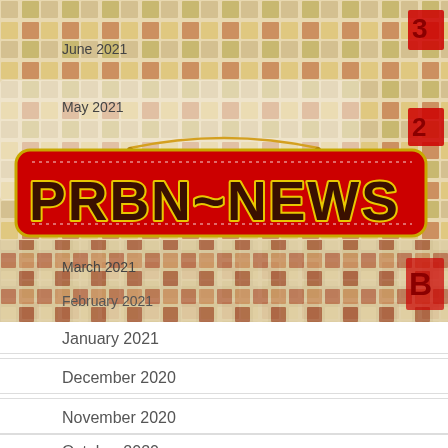[Figure (photo): Mosaic tile background with PRBN-NEWS sign hanging on it, showing month labels June 2021, May 2021, April 2021, March 2021, February 2021]
January 2021
December 2020
November 2020
October 2020